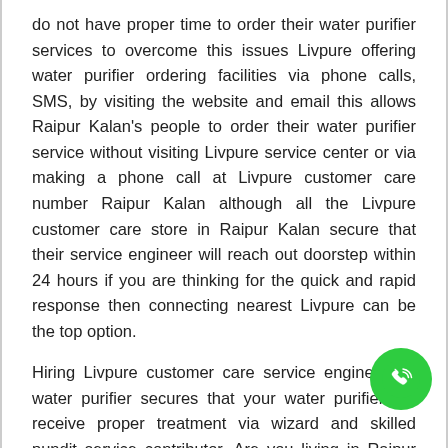do not have proper time to order their water purifier services to overcome this issues Livpure offering water purifier ordering facilities via phone calls, SMS, by visiting the website and email this allows Raipur Kalan's people to order their water purifier service without visiting Livpure service center or via making a phone call at Livpure customer care number Raipur Kalan although all the Livpure customer care store in Raipur Kalan secure that their service engineer will reach out doorstep within 24 hours if you are thinking for the quick and rapid response then connecting nearest Livpure can be the top option.
Hiring Livpure customer care service engineer for water purifier secures that your water purifier will receive proper treatment via wizard and skilled pundit service contributor. Are you living in Raipur Kalan and concerned about your drinking water purifier then this is the correct place that can be helpful for you.
[Figure (illustration): Green circular phone/call button icon in bottom-right area of the page]